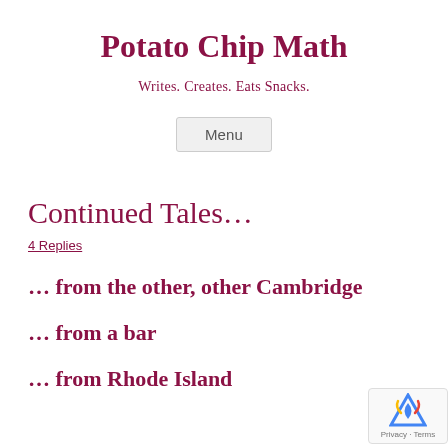Potato Chip Math
Writes. Creates. Eats Snacks.
Menu
Continued Tales…
4 Replies
… from the other, other Cambridge
… from a bar
… from Rhode Island